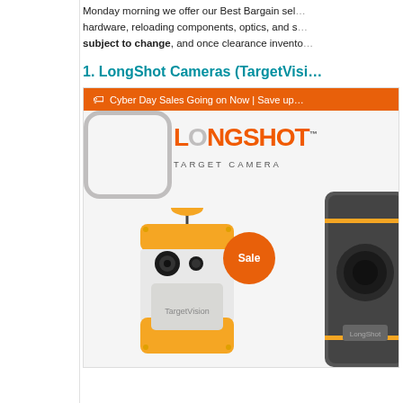Monday morning we offer our Best Bargain selections in hardware, reloading components, optics, and s… prices are subject to change, and once clearance invento…
1. LongShot Cameras (TargetVisi…
[Figure (screenshot): LongShot Target Camera product page screenshot showing orange promotional banner 'Cyber Day Sales Going on Now | Save up…', the LongShot Target Camera logo, and two orange camera product images with a Sale badge.]